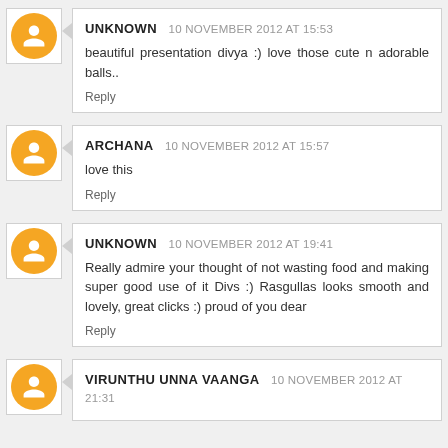UNKNOWN 10 NOVEMBER 2012 AT 15:53
beautiful presentation divya :) love those cute n adorable balls..
Reply
ARCHANA 10 NOVEMBER 2012 AT 15:57
love this
Reply
UNKNOWN 10 NOVEMBER 2012 AT 19:41
Really admire your thought of not wasting food and making super good use of it Divs :) Rasgullas looks smooth and lovely, great clicks :) proud of you dear
Reply
VIRUNTHU UNNA VAANGA 10 NOVEMBER 2012 AT 21:31